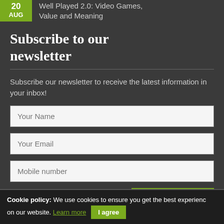20 AUG Well Played 2.0: Video Games, Value and Meaning
Subscribe to our newsletter
Subscribe our newsletter to receive the latest information in your inbox!
[Figure (screenshot): Newsletter subscription form with fields: Your Name, Your Email, Mobile number, and a SUBSCRIBE button]
Cookie policy: We use cookies to ensure you get the best experience on our website. Learn more  I agree